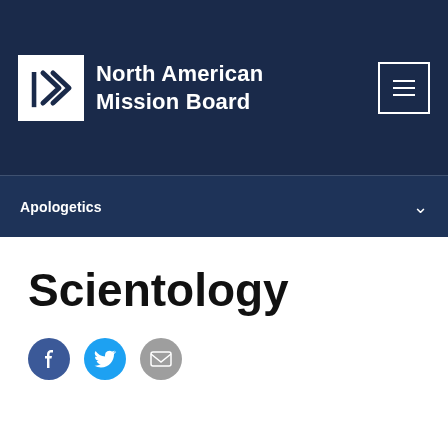[Figure (logo): North American Mission Board logo with white arrow icon on dark navy background header. Includes hamburger menu button in top right.]
Apologetics
Scientology
[Figure (infographic): Social share icons: Facebook (blue circle with f), Twitter (cyan circle with bird), Email (gray circle with envelope)]